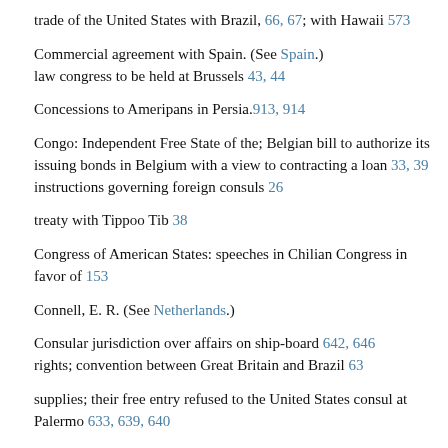trade of the United States with Brazil, 66, 67; with Hawaii 573
Commercial agreement with Spain. (See Spain.) law congress to be held at Brussels 43, 44
Concessions to Ameripans in Persia.913, 914
Congo: Independent Free State of the; Belgian bill to authorize its issuing bonds in Belgium with a view to contracting a loan 33, 39 instructions governing foreign consuls 26
treaty with Tippoo Tib 38
Congress of American States: speeches in Chilian Congress in favor of 153
Connell, E. R. (See Netherlands.)
Consular jurisdiction over affairs on ship-board 642, 646 rights; convention between Great Britain and Brazil 63
supplies; their free entry refused to the United States consul at Palermo 633, 639, 640
Corea: enterprises inaugurated by American missionaries in 258 foreign merchants in Seoul; their expulsion probable253, 259,